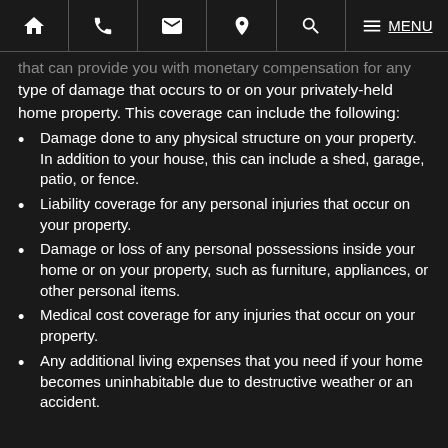Navigation bar with home, phone, email, location, search, and menu icons
that can provide you with monetary compensation for any type of damage that occurs to or on your privately-held home property. This coverage can include the following:
Damage done to any physical structure on your property. In addition to your house, this can include a shed, garage, patio, or fence.
Liability coverage for any personal injuries that occur on your property.
Damage or loss of any personal possessions inside your home or on your property, such as furniture, appliances, or other personal items.
Medical cost coverage for any injuries that occur on your property.
Any additional living expenses that you need if your home becomes uninhabitable due to destructive weather or an accident.